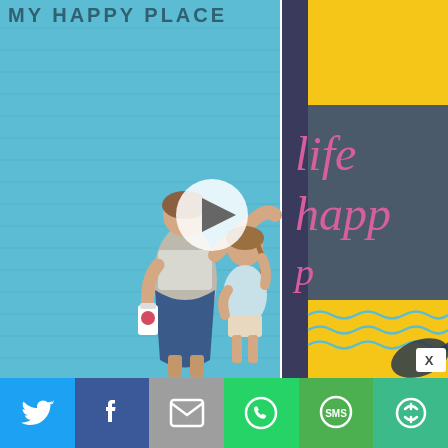[Figure (photo): Woman and young girl posing in front of a colorful mural wall. The blue brick wall has dark teal text at the top reading 'MY HAPPY PLACE'. The right side shows a yellow panel at top, a dark gray panel with pink cursive writing saying 'life happy', and yellow at bottom with wave pattern. A video play button is overlaid in the center.]
[Figure (infographic): Social media share bar at the bottom with six buttons: Twitter (blue bird), Facebook (blue f), Email (gray envelope), WhatsApp (green phone), SMS (green SMS bubble), and More (green circular arrows)]